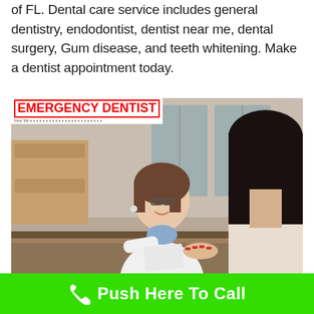of FL. Dental care service includes general dentistry, endodontist, dentist near me, dental surgery, Gum disease, and teeth whitening. Make a dentist appointment today.
[Figure (photo): A smiling female dental receptionist with glasses and a white coat handing paperwork to a dark-haired patient across a reception desk. An 'EMERGENCY DENTIST' logo overlay is in the top-left corner of the image.]
Push Here To Call